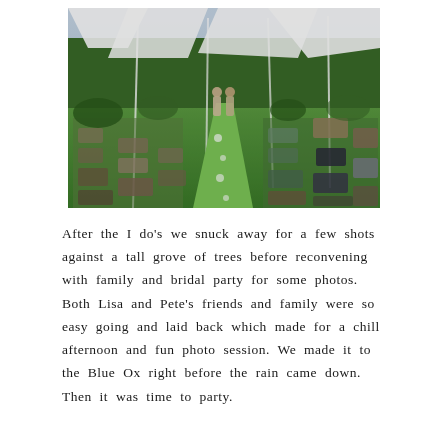[Figure (photo): Outdoor wedding ceremony in a garden setting. A grass aisle leads to a couple at the altar under white canopy tents. Guests are seated on folding chairs on both sides. The garden has green plants, flowers, and trees in the background.]
After the I do's we snuck away for a few shots against a tall grove of trees before reconvening with family and bridal party for some photos. Both Lisa and Pete's friends and family were so easy going and laid back which made for a chill afternoon and fun photo session. We made it to the Blue Ox right before the rain came down. Then it was time to party.